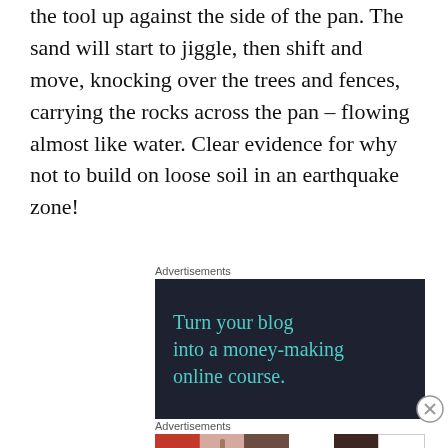the tool up against the side of the pan. The sand will start to jiggle, then shift and move, knocking over the trees and fences, carrying the rocks across the pan – flowing almost like water. Clear evidence for why not to build on loose soil in an earthquake zone!
Advertisements
[Figure (other): Dark navy advertisement banner with teal text reading 'Turn your blog into a money-making online course.']
Advertisements
[Figure (other): A row of beauty/makeup advertisement tiles including lips, brush, eye, Ulta logo, eyebrows, and Shop Now button]